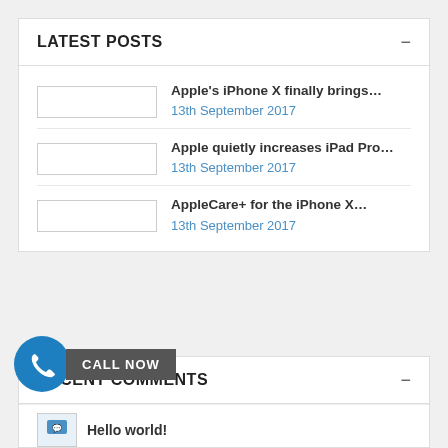LATEST POSTS
Apple's iPhone X finally brings... | 13th September 2017
Apple quietly increases iPad Pro... | 13th September 2017
AppleCare+ for the iPhone X... | 13th September 2017
RECENT COMMENTS
CALL NOW
Hello world!